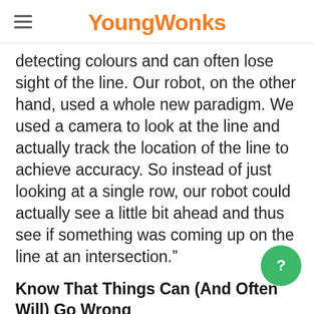YoungWonks
detecting colours and can often lose sight of the line. Our robot, on the other hand, used a whole new paradigm. We used a camera to look at the line and actually track the location of the line to achieve accuracy. So instead of just looking at a single row, our robot could actually see a little bit ahead and thus see if something was coming up on the line at an intersection.”
Know That Things Can (And Often Will) Go Wrong
Despite the rigorous prep, when Oli and Chaitanya got to the event and put